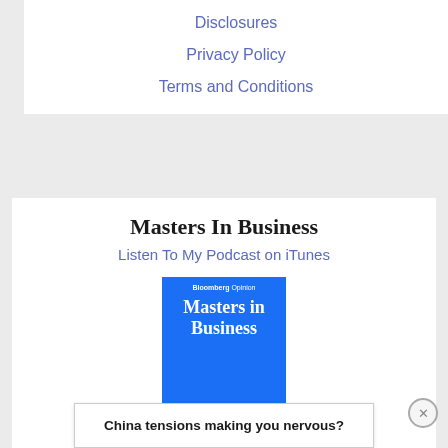Disclosures
Privacy Policy
Terms and Conditions
Masters In Business
Listen To My Podcast on iTunes
[Figure (illustration): Bloomberg Opinion Masters in Business podcast cover art — blue square with white text 'Bloomberg Opinion' at top and 'Masters in Business' in large serif font, with a reflection effect below and 'Barry Ritholtz' label at the bottom]
China tensions making you nervous?